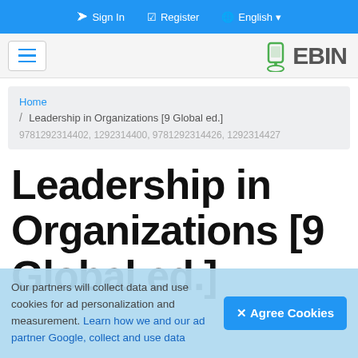Sign In   Register   English
[Figure (logo): EBIN logo with mobile/cloud icon and hamburger menu button]
Home / Leadership in Organizations [9 Global ed.] 9781292314402, 1292314400, 9781292314426, 1292314427
Leadership in Organizations [9 Global ed.]
Our partners will collect data and use cookies for ad personalization and measurement. Learn how we and our ad partner Google, collect and use data
✕ Agree Cookies